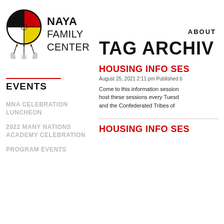[Figure (logo): NAYA Family Center logo with dreamcatcher circle divided into four quadrants (black, red, white, yellow) with feathers hanging below]
NAYA FAMILY CENTER
ABOUT
EVENTS
TAG ARCHIV
MNA CELEBRATION LUNCHEON
2022 MANY NATIONS ACADEMY CELEBRATION
PROGRAM EVENTS
HOUSING INFO SES
August 25, 2021 2:11 pm Published b
Come to this information session host these sessions every Tuesd and the Confederated Tribes of
HOUSING INFO SES